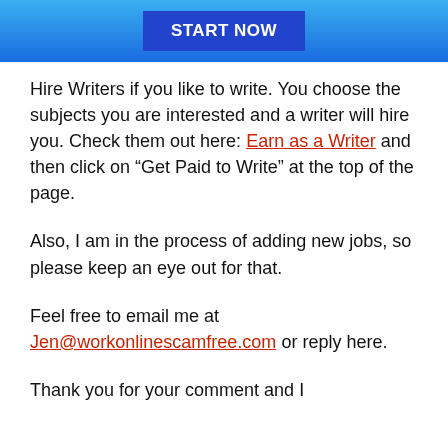[Figure (other): Blue gradient banner with a dark blue 'START NOW' button centered on it]
Hire Writers if you like to write. You choose the subjects you are interested and a writer will hire you. Check them out here: Earn as a Writer and then click on “Get Paid to Write” at the top of the page.
Also, I am in the process of adding new jobs, so please keep an eye out for that.
Feel free to email me at Jen@workonlinescamfree.com or reply here.
Thank you for your comment and I